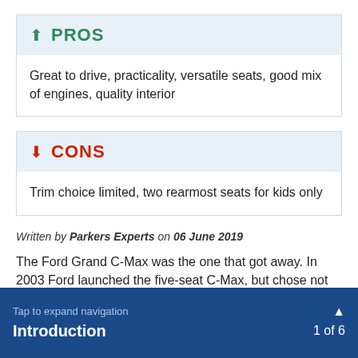↑ PROS
Great to drive, practicality, versatile seats, good mix of engines, quality interior
↓ CONS
Trim choice limited, two rearmost seats for kids only
Written by Parkers Experts on 06 June 2019
The Ford Grand C-Max was the one that got away. In 2003 Ford launched the five-seat C-Max, but chose not
Tap to expand navigation  Introduction  1 of 6